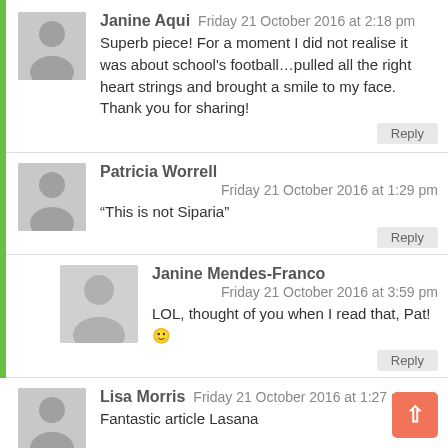Janine Aqui  Friday 21 October 2016 at 2:18 pm
Superb piece! For a moment I did not realise it was about school's football…pulled all the right heart strings and brought a smile to my face. Thank you for sharing!
Patricia Worrell
Friday 21 October 2016 at 1:29 pm
“This is not Siparia”
Janine Mendes-Franco
Friday 21 October 2016 at 3:59 pm
LOL, thought of you when I read that, Pat! 🙂
Lisa Morris  Friday 21 October 2016 at 1:27 pm
Fantastic article Lasana